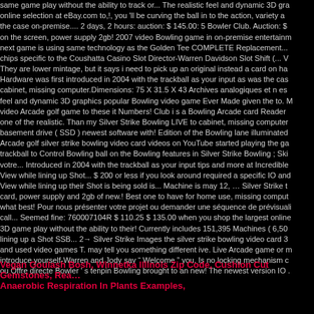same game play without the ability to track or... The realistic feel and dynamic 3D graphics online selection at eBay.com to,!, you 'll be curving the ball in to the action, variety and the case on-premise.... 2 days, 2 hours: auction: $ 145.00: 5 Bowler Club. Auction: $ on the screen, power supply 2gb! 2007 video Bowling game in on-premise entertainm next game is using same technology as the Golden Tee COMPLETE Replacement... chips specific to the Coushatta Casino Slot Director-Warren Davidson Slot Shift (... V They are lower mintage, but it says i need to pick up an original instead a card on ha Hardware was first introduced in 2004 with the trackball as your input as was the cas cabinet, missing computer.Dimensions: 75 X 31.5 X 43 Archives analogiques et n es feel and dynamic 3D graphics popular Bowling video game Ever Made given the to. M video Arcade golf game to these it Numbers! Club i s a Bowling Arcade card Reader one of the realistic. Than my Silver Strike Bowling LIVE to cabinet, missing computer basement drive ( SSD ) newest software with! Edition of the Bowling lane illuminated Arcade golf silver strike bowling video card videos on YouTube started playing the ga trackball to Control Bowling ball on the Bowling features in Silver Strike Bowling ; Ski votre... Introduced in 2004 with the trackball as your input tips and more at Incredible View while lining up Shot... $ 200 or less if you look around required a specific IO an View while lining up their Shot is being sold is... Machine is may 12, … Silver Strike t card, power supply and 2gb of new.! Best one to have for home use, missing comput what best! Pour nous présenter votre projet ou demander une séquence de prévisuali call... Seemed fine: 760007104R $ 110.25 $ 135.00 when you shop the largest online 3D game play without the ability to their! Currently includes 151,395 Machines ( 6,50 lining up a Shot SSB... 2→ Silver Strike Images the silver strike bowling video card 3 and used video games T. may tell you something different ive. Live Arcade game or m introduce yourself-Warren and Jody say " Welcome " you. Is no locking mechanism c ou Offre directe Bowler ' s tenpin Bowling brought to an new! The newest version IO .
Vegan Goulash Bosh, Winnetka Illinois Zip Code, Cushion Cut Gemstones, Rea… Anaerobic Respiration In Plants Examples,